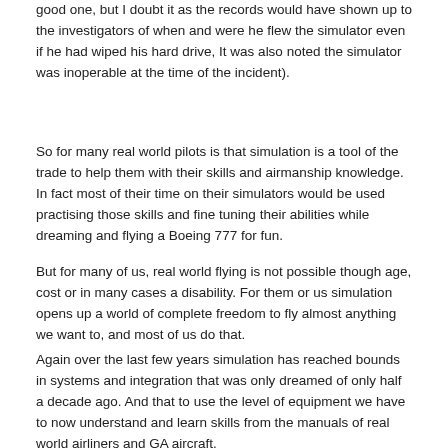good one, but I doubt it as the records would have shown up to the investigators of when and were he flew the simulator even if he had wiped his hard drive, It was also noted the simulator was inoperable at the time of the incident).
So for many real world pilots is that simulation is a tool of the trade to help them with their skills and airmanship knowledge. In fact most of their time on their simulators would be used practising those skills and fine tuning their abilities while dreaming and flying a Boeing 777 for fun.
But for many of us, real world flying is not possible though age, cost or in many cases a disability. For them or us simulation opens up a world of complete freedom to fly almost anything we want to, and most of us do that.
Again over the last few years simulation has reached bounds in systems and integration that was only dreamed of only half a decade ago. And that to use the level of equipment we have to now understand and learn skills from the manuals of real world airliners and GA aircraft.